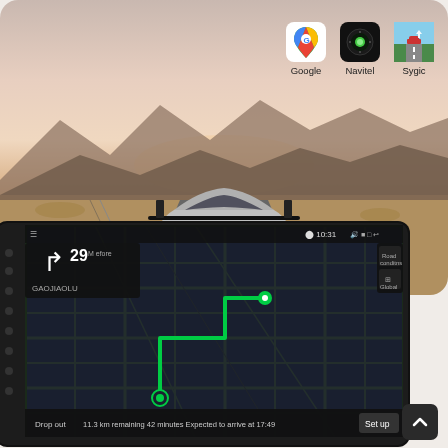[Figure (photo): Rear view of a sports car driving on an open highway through a desert landscape at dusk, with mountains in the background and warm sunset sky.]
[Figure (screenshot): Three navigation app icons displayed in the upper right: Google Maps, Navitel, and Sygic, each with their respective logos and names below.]
[Figure (screenshot): Android car head unit showing a GPS navigation screen with a dark map, green route path, turn direction arrow showing 29 meters to GAOJIAOLU, bottom bar showing 'Drop out  11.3 km remaining 42 minutes Expected to arrive at 17:49  Set up', and side control buttons. Time shown: 10:31.]
[Figure (other): Dark grey scroll-up button with a white upward chevron arrow in the bottom right corner.]